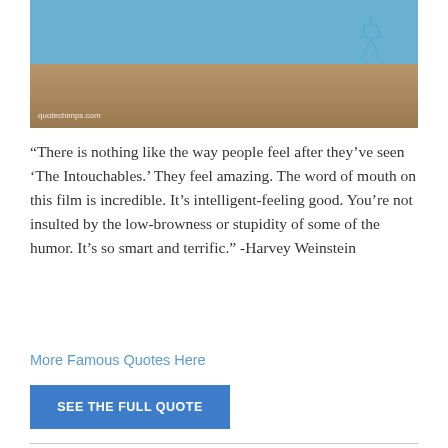[Figure (photo): Beach scene with blue painted wall and lifeguard tower on sandy beach. Watermark reads quotechimps.com]
“There is nothing like the way people feel after they’ve seen ‘The Intouchables.’ They feel amazing. The word of mouth on this film is incredible. It’s intelligent-feeling good. You’re not insulted by the low-browness or stupidity of some of the humor. It’s so smart and terrific.” -Harvey Weinstein
More Famous Quotes Here
SEE THE FULL QUOTE